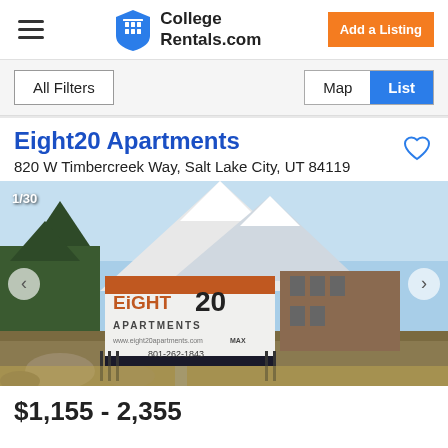CollegeRentals.com — Add a Listing
All Filters
Map | List
Eight20 Apartments
820 W Timbercreek Way, Salt Lake City, UT 84119
[Figure (photo): Exterior photo of Eight20 Apartments sign with snow-capped mountains in background. Sign reads: EiGHT20 APARTMENTS, www.eight20apartments.com MAX, 801-262-1843. Photo counter shows 1/30.]
$1,155 - 2,355